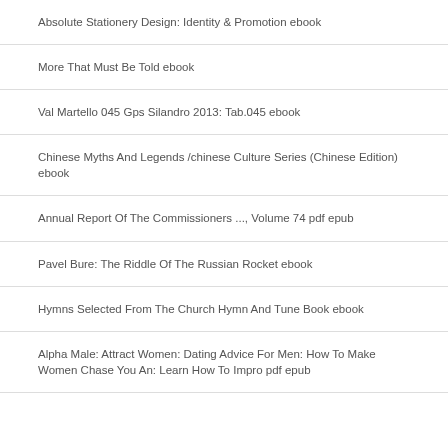Absolute Stationery Design: Identity & Promotion ebook
More That Must Be Told ebook
Val Martello 045 Gps Silandro 2013: Tab.045 ebook
Chinese Myths And Legends /chinese Culture Series (Chinese Edition) ebook
Annual Report Of The Commissioners ..., Volume 74 pdf epub
Pavel Bure: The Riddle Of The Russian Rocket ebook
Hymns Selected From The Church Hymn And Tune Book ebook
Alpha Male: Attract Women: Dating Advice For Men: How To Make Women Chase You An: Learn How To Impro pdf epub